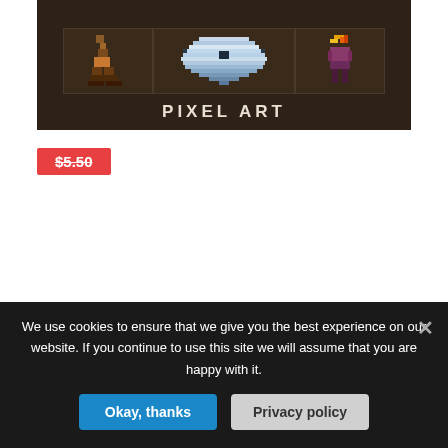[Figure (screenshot): Pixel art game assets screenshot showing three sprite panels on a dark brown background with the label PIXEL ART]
$5.50
[Figure (other): Loading spinner (circular dashed spinner animation)]
We use cookies to ensure that we give you the best experience on our website. If you continue to use this site we will assume that you are happy with it.
Okay, thanks
Privacy policy